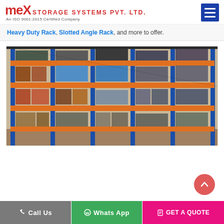MEX STORAGE SYSTEMS PVT. LTD. An ISO 9001:2015 Certified Company
Heavy Duty Rack, Slotted Angle Rack, and more to offer.
[Figure (photo): Warehouse with heavy duty storage racks loaded with goods, featuring blue vertical columns and orange horizontal beams, with wrapped pallets and boxes on multiple shelf levels.]
Call Us | Whats App | GET A QUOTE